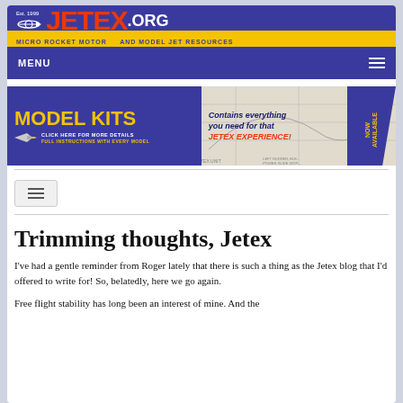[Figure (logo): Jetex.org logo banner with blue and yellow background, red JETEX text, plane icon, Est 1999, and tagline 'Micro Rocket Motor and Model Jet Resources']
[Figure (screenshot): Navigation menu bar with MENU label and hamburger icon on dark blue background]
[Figure (illustration): Model Kits advertisement banner. Left side: blue background with yellow 'MODEL KITS' text, airplane icon, 'CLICK HERE FOR MORE DETAILS', 'FULL INSTRUCTIONS WITH EVERY MODEL'. Right side: blueprint background with 'Contains everything you need for that JETEX EXPERIENCE!' text and 'NOW AVAILABLE' diagonal banner on the right.]
[Figure (screenshot): Small hamburger/toggle button with three horizontal lines on light gray background with border]
Trimming thoughts, Jetex
I've had a gentle reminder from Roger lately that there is such a thing as the Jetex blog that I'd offered to write for! So, belatedly, here we go again.
Free flight stability has long been an interest of mine. And the